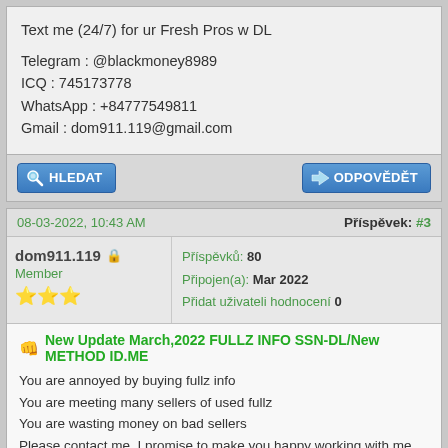Text me (24/7) for ur Fresh Pros w DL

Telegram : @blackmoney8989
ICQ : 745173778
WhatsApp : +84777549811
Gmail : dom911.119@gmail.com
HLEDAT    ODPOVĚDĚT
08-03-2022, 10:43 AM    Příspěvek: #3
dom911.119   Member ★★★    Příspěvků: 80   Připojen(a): Mar 2022   Přidat uživateli hodnocení 0
New Update March,2022 FULLZ INFO SSN-DL/New METHOD ID.ME
You are annoyed by buying fullz info
You are meeting many sellers of used fullz
You are wasting money on bad sellers
Please contact me, I promise to make you happy working with me
My best service now fullz info with ssn dob dl and the latest PUA, IU, SBA loading methods
Special DL search service all countries

This saves ur time as it allows u to put in a whole lot more claims